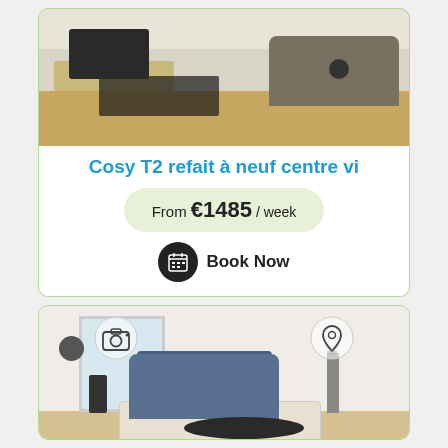[Figure (photo): Interior photo of a renovated living room with TV, wooden furniture, sofa, and black rug on wooden floor]
Cosy T2 refait à neuf centre vi
From €1485 / week
Book Now
[Figure (photo): Interior photo of a bright living room with a grey sofa, oval coffee table, and patterned rug, with camera and location pin icons overlaid]